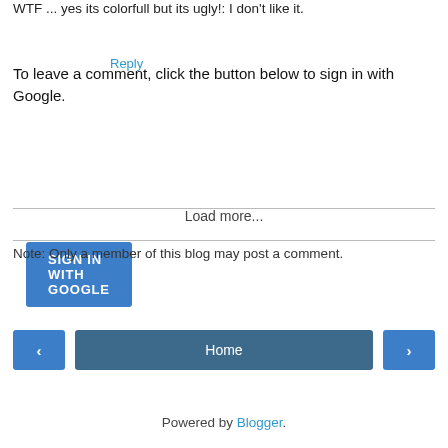WTF ... yes its colorfull but its ugly!: I don't like it.
Reply
To leave a comment, click the button below to sign in with Google.
SIGN IN WITH GOOGLE
Load more...
Note: Only a member of this blog may post a comment.
< Home >
View web version
Powered by Blogger.